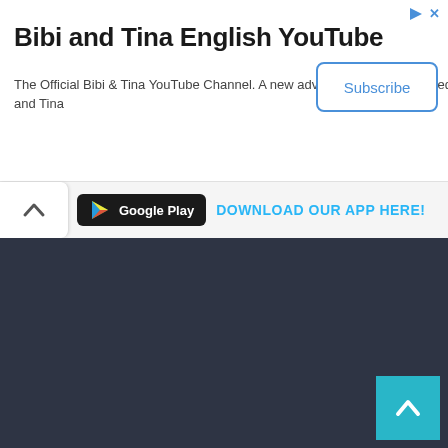[Figure (screenshot): Advertisement banner for Bibi and Tina English YouTube channel with Subscribe button]
Bibi and Tina English YouTube
The Official Bibi & Tina YouTube Channel. A new adventure will be uploaded every thursday! Bibi and Tina
[Figure (screenshot): Google Play badge and download app prompt bar with chevron up button]
[Figure (screenshot): Dark background section with Dance Shake & Split Fortnite Featured Image title and a lightning bolt icon]
Dance Shake & Split Fortnite Featured Image